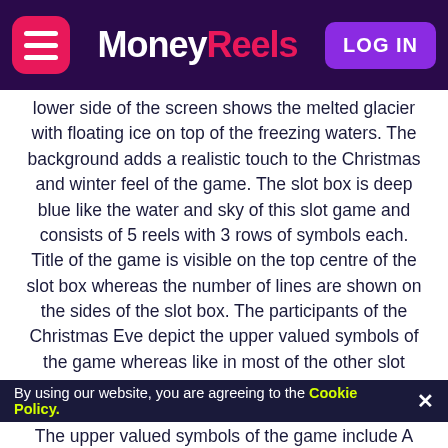MoneyReels | LOG IN
lower side of the screen shows the melted glacier with floating ice on top of the freezing waters. The background adds a realistic touch to the Christmas and winter feel of the game. The slot box is deep blue like the water and sky of this slot game and consists of 5 reels with 3 rows of symbols each. Title of the game is visible on the top centre of the slot box whereas the number of lines are shown on the sides of the slot box. The participants of the Christmas Eve depict the upper valued symbols of the game whereas like in most of the other slot games lower valued slots are represented by alphabets.
The lower valued symbols of the game include K, Q, J, A, 10
The upper valued symbols of the game include A
By using our website, you are agreeing to the Cookie Policy. ×